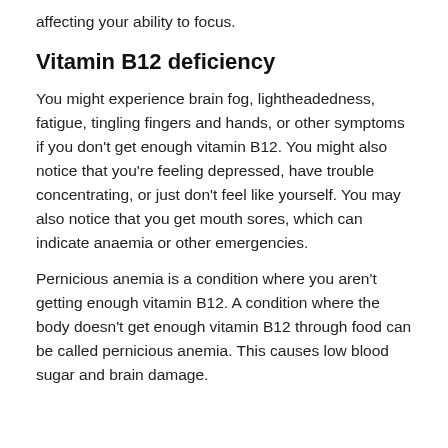affecting your ability to focus.
Vitamin B12 deficiency
You might experience brain fog, lightheadedness, fatigue, tingling fingers and hands, or other symptoms if you don't get enough vitamin B12. You might also notice that you're feeling depressed, have trouble concentrating, or just don't feel like yourself. You may also notice that you get mouth sores, which can indicate anaemia or other emergencies.
Pernicious anemia is a condition where you aren't getting enough vitamin B12. A condition where the body doesn't get enough vitamin B12 through food can be called pernicious anemia. This causes low blood sugar and brain damage.